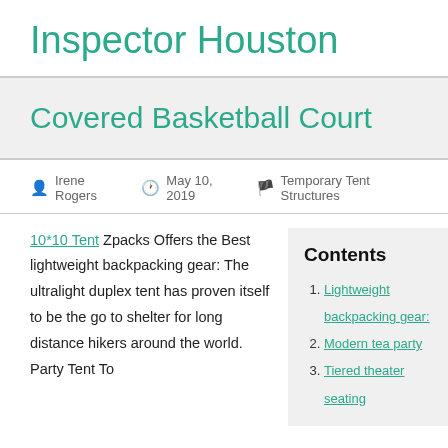Inspector Houston
Covered Basketball Court
Irene Rogers   May 10, 2019   Temporary Tent Structures
10*10 Tent Zpacks Offers the Best lightweight backpacking gear: The ultralight duplex tent has proven itself to be the go to shelter for long distance hikers around the world. Party Tent To
Contents
Lightweight backpacking gear:
Modern tea party
Tiered theater seating